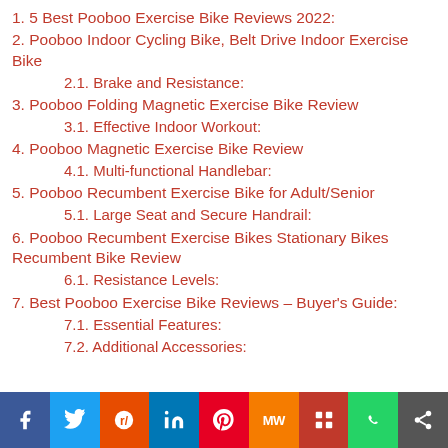1. 5 Best Pooboo Exercise Bike Reviews 2022:
2. Pooboo Indoor Cycling Bike, Belt Drive Indoor Exercise Bike
2.1. Brake and Resistance:
3. Pooboo Folding Magnetic Exercise Bike Review
3.1. Effective Indoor Workout:
4. Pooboo Magnetic Exercise Bike Review
4.1. Multi-functional Handlebar:
5. Pooboo Recumbent Exercise Bike for Adult/Senior
5.1. Large Seat and Secure Handrail:
6. Pooboo Recumbent Exercise Bikes Stationary Bikes Recumbent Bike Review
6.1. Resistance Levels:
7. Best Pooboo Exercise Bike Reviews – Buyer's Guide:
7.1. Essential Features:
7.2. Additional Accessories: